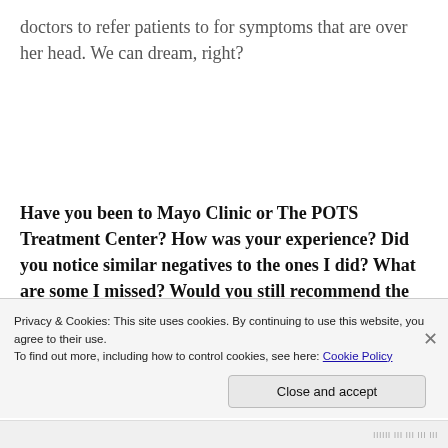doctors to refer patients to for symptoms that are over her head. We can dream, right?
Have you been to Mayo Clinic or The POTS Treatment Center? How was your experience? Did you notice similar negatives to the ones I did? What are some I missed? Would you still recommend the center you went to?
Privacy & Cookies: This site uses cookies. By continuing to use this website, you agree to their use.
To find out more, including how to control cookies, see here: Cookie Policy
IIIII III III III III III